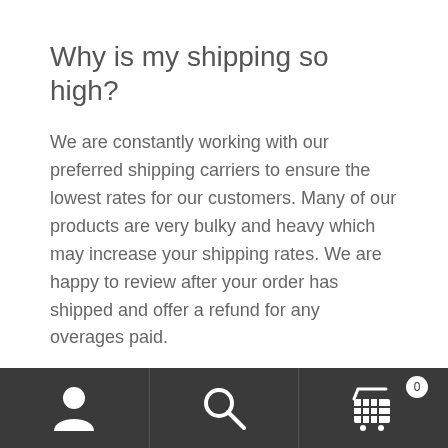Why is my shipping so high?
We are constantly working with our preferred shipping carriers to ensure the lowest rates for our customers. Many of our products are very bulky and heavy which may increase your shipping rates. We are happy to review after your order has shipped and offer a refund for any overages paid.
Is my credit card and personal information secure when I order from your site?
[Figure (other): Bottom navigation bar with three sections: user/account icon, search icon, and shopping cart icon with badge showing 0]